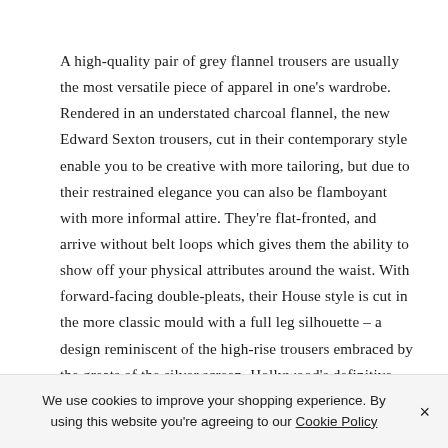A high-quality pair of grey flannel trousers are usually the most versatile piece of apparel in one's wardrobe. Rendered in an understated charcoal flannel, the new Edward Sexton trousers, cut in their contemporary style enable you to be creative with more tailoring, but due to their restrained elegance you can also be flamboyant with more informal attire. They're flat-fronted, and arrive without belt loops which gives them the ability to show off your physical attributes around the waist. With forward-facing double-pleats, their House style is cut in the more classic mould with a full leg silhouette – a design reminiscent of the high-rise trousers embraced by the greats of the silver screen. Hollywood's definitive leading men such as
We use cookies to improve your shopping experience. By using this website you're agreeing to our Cookie Policy